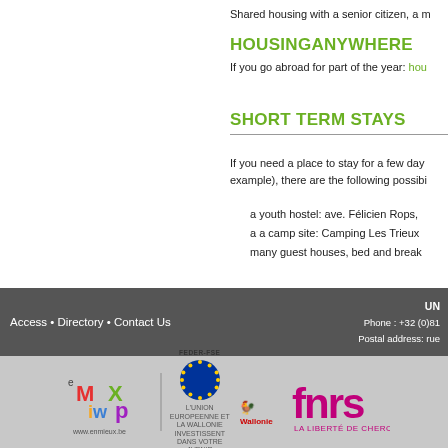Shared housing with a senior citizen, a m
HOUSINGANYWHERE
If you go abroad for part of the year: hou
SHORT TERM STAYS
If you need a place to stay for a few days (during your move for example), there are the following possibilities:
a youth hostel: ave. Félicien Rops,
a a camp site: Camping Les Trieux
many guest houses, bed and break
Access • Directory • Contact Us | UN Phone : +32 (0)81 Postal address: rue
[Figure (logo): Footer logos: enmieux (Mix colored logo), FEDER-FSE EU flag with Wallonie rooster logo, FNRS la liberté de chercher logo]